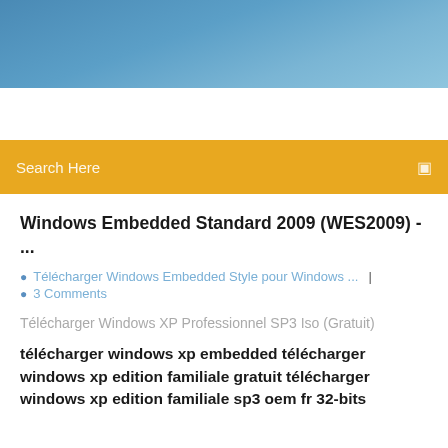[Figure (screenshot): Blue gradient header banner at the top of the webpage]
[Figure (screenshot): Golden/orange search bar with 'Search Here' placeholder text and a search icon on the right]
Windows Embedded Standard 2009 (WES2009) - ...
Télécharger Windows Embedded Style pour Windows ... | 3 Comments
Télécharger Windows XP Professionnel SP3 Iso (Gratuit)
télécharger windows xp embedded télécharger windows xp edition familiale gratuit télécharger windows xp edition familiale sp3 oem fr 32-bits